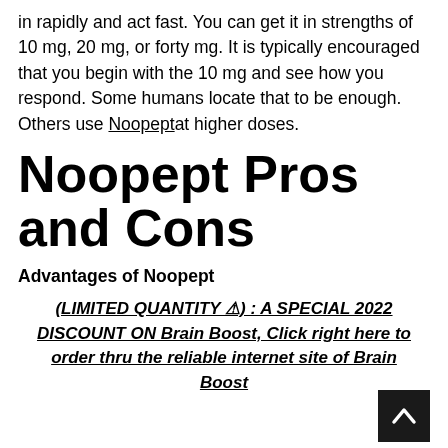in rapidly and act fast. You can get it in strengths of 10 mg, 20 mg, or forty mg. It is typically encouraged that you begin with the 10 mg and see how you respond. Some humans locate that to be enough. Others use Noopept at higher doses.
Noopept Pros and Cons
Advantages of Noopept
(LIMITED QUANTITY ⚠) : A SPECIAL 2022 DISCOUNT ON Brain Boost, Click right here to order thru the reliable internet site of Brain Boost